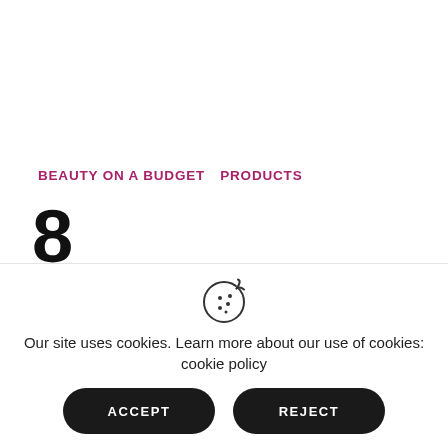BEAUTY ON A BUDGET  PRODUCTS
8 Affordable Makeup Brush
Our site uses cookies. Learn more about our use of cookies: cookie policy
ACCEPT
REJECT